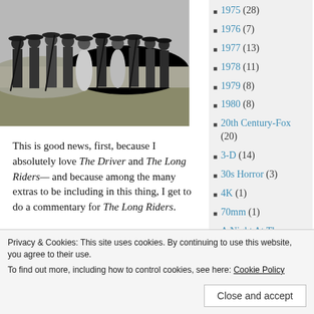[Figure (photo): Black and white photo of a group of approximately 10 people in Western/cowboy attire with hats and long coats, some holding rifles, standing in a field — likely a still from The Long Riders film.]
This is good news, first, because I absolutely love The Driver and The Long Riders— and because among the many extras to be including in this thing, I get to do a commentary for The Long Riders.
1975 (28)
1976 (7)
1977 (13)
1978 (11)
1979 (8)
1980 (8)
20th Century-Fox (20)
3-D (14)
30s Horror (3)
4K (1)
70mm (1)
A Night At The Movies (3)
Privacy & Cookies: This site uses cookies. By continuing to use this website, you agree to their use. To find out more, including how to control cookies, see here: Cookie Policy
Close and accept